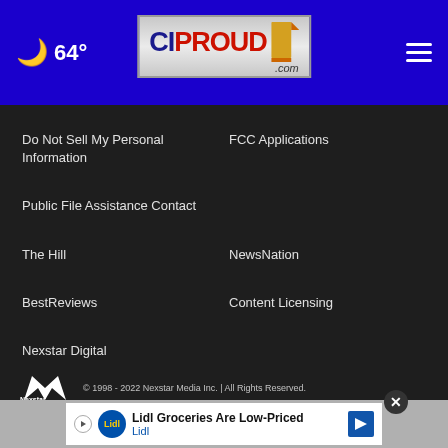64°
[Figure (logo): CIPROUD.com logo with New Jersey flag icon on blue navigation bar]
Do Not Sell My Personal Information
FCC Applications
Public File Assistance Contact
The Hill
NewsNation
BestReviews
Content Licensing
Nexstar Digital
© 1998 - 2022 Nexstar Media Inc. | All Rights Reserved.
[Figure (screenshot): Lidl Groceries Are Low-Priced advertisement banner]